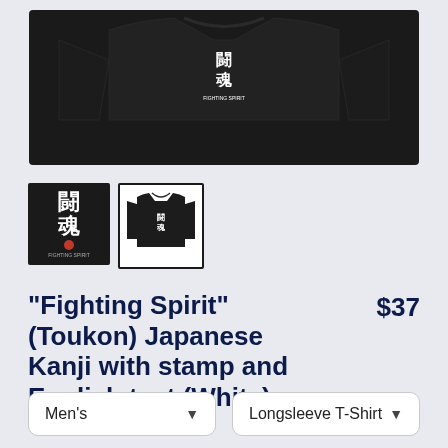[Figure (photo): Black longsleeve t-shirt product photo showing front/back views with Japanese kanji Fighting Spirit design]
[Figure (photo): Thumbnail 1: Black square with white kanji characters and red stamp]
[Figure (photo): Thumbnail 2: Back view of black longsleeve t-shirt with white kanji text]
"Fighting Spirit" (Toukon) Japanese Kanji with stamp and English text (White)
$37
Men's
Longsleeve T-Shirt